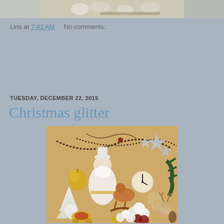[Figure (photo): Top portion of a decorative image showing floral/botanical elements with white flowers and branches on a muted gray-green background, partially cropped at top of page]
Lins at 7:41 AM    No comments:
TUESDAY, DECEMBER 22, 2015
Christmas glitter
[Figure (photo): Christmas-themed digital scrapbooking kit collage on a golden/tan background featuring: Santa Claus figure in white, gold Christmas tree ornament, white snowy tree, polar bear, golden carriage, rocking horse, clock, stars, dark bead garlands, white and pink flowers, deer figurine, pine branches, and various Christmas decorations]